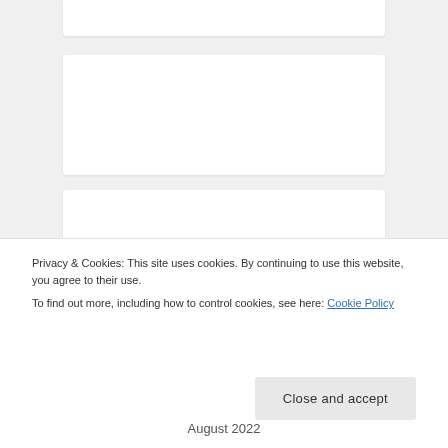[Figure (screenshot): Partial website page showing multiple white card/panel elements on a light gray background]
Privacy & Cookies: This site uses cookies. By continuing to use this website, you agree to their use.
To find out more, including how to control cookies, see here: Cookie Policy
Close and accept
August 2022